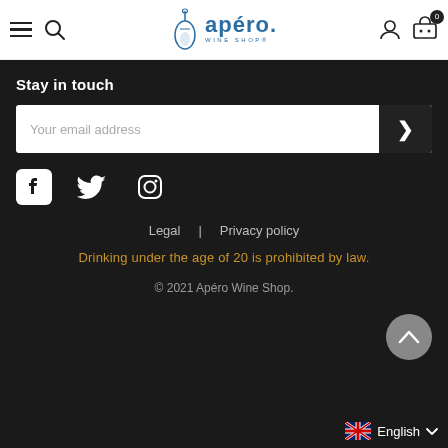[Figure (screenshot): Website header with hamburger menu, search icon, Apéro Wine Shop logo (wine bottle and text in blue), user account icon, and shopping cart icon with badge showing 0]
Stay in touch
Your email address
[Figure (infographic): Social media icons: Facebook, Twitter, Instagram (white on dark background)]
Legal  |  Privacy policy
Drinking under the age of 20 is prohibited by law.
© 2021 Apéro Wine Shop.
English